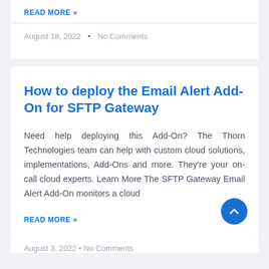READ MORE »
August 18, 2022  •  No Comments
How to deploy the Email Alert Add-On for SFTP Gateway
Need help deploying this Add-On? The Thorn Technologies team can help with custom cloud solutions, implementations, Add-Ons and more. They're your on-call cloud experts. Learn More The SFTP Gateway Email Alert Add-On monitors a cloud
READ MORE »
August 3, 2022  •  No Comments